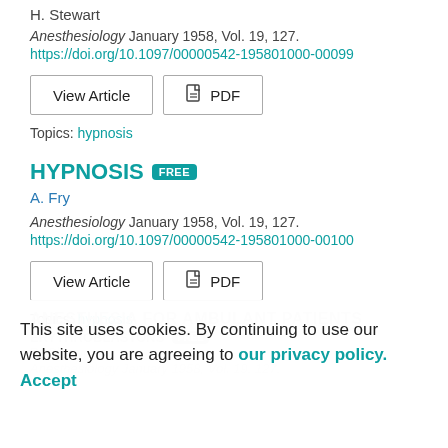H. Stewart
Anesthesiology January 1958, Vol. 19, 127.
https://doi.org/10.1097/00000542-195801000-00099
Topics: hypnosis
HYPNOSIS FREE
A. Fry
Anesthesiology January 1958, Vol. 19, 127.
https://doi.org/10.1097/00000542-195801000-00100
Topics: hypnosis
ANESTHESIA FOR AMBULANT PATIENTS
ERYTHROBLASTONS FREE
B. Chown
Anesthesiology January 1958, Vol. 19, 127.
This site uses cookies. By continuing to use our website, you are agreeing to our privacy policy. Accept